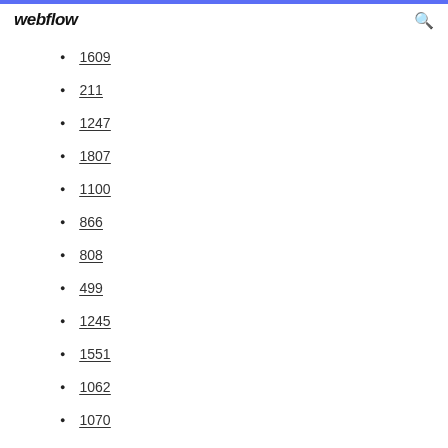webflow
1609
211
1247
1807
1100
866
808
499
1245
1551
1062
1070